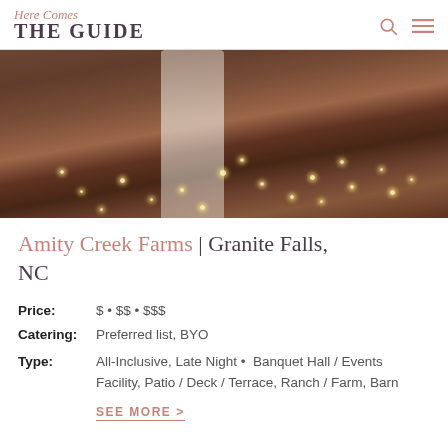Here Comes THE GUIDE
[Figure (photo): Wedding dance photo inside a barn venue with sparkle lights on the floor, bride in white dress dancing]
Amity Creek Farms | Granite Falls, NC
Price: $ • $$ • $$$
Catering: Preferred list, BYO
Type: All-Inclusive, Late Night • Banquet Hall / Events Facility, Patio / Deck / Terrace, Ranch / Farm, Barn
SEE MORE >